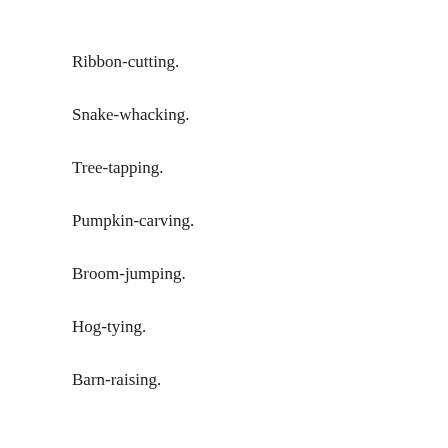Ribbon-cutting.
Snake-whacking.
Tree-tapping.
Pumpkin-carving.
Broom-jumping.
Hog-tying.
Barn-raising.
Grape-crushing.
Sorghum-grinding.